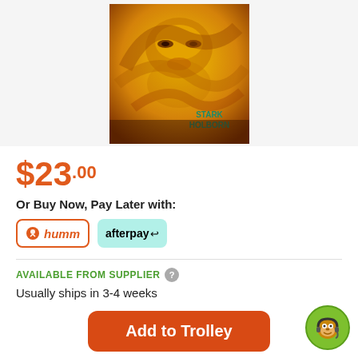[Figure (photo): Book cover with golden/yellow tones showing a woman's face partially obscured by swirling fabric or petals. Text 'STARK HOLBORN' in teal/green letters in the lower right corner.]
$23.00
Or Buy Now, Pay Later with:
[Figure (logo): humm payment logo - orange bee icon with italic 'humm' text in orange, inside an orange-bordered rounded rectangle]
[Figure (logo): afterpay logo - 'afterpay' text with link icon on mint/teal background rounded rectangle]
AVAILABLE FROM SUPPLIER
Usually ships in 3-4 weeks
Add to Trolley